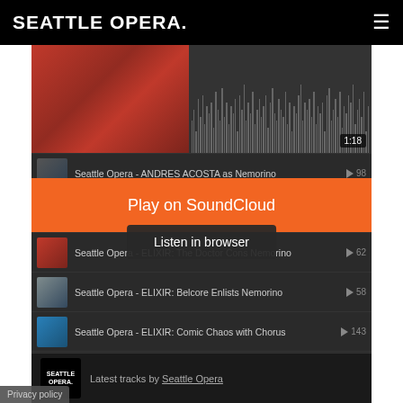SEATTLE OPERA.
[Figure (screenshot): SoundCloud embedded player showing Seattle Opera tracks. Includes a thumbnail of a red car, audio waveform with 1:18 time badge, play count of 98, and a list of tracks: Seattle Opera - ANDRES ACOSTA as Nemorino (98 plays), Seattle Opera - AMITAI PATI as Nemorino (90 plays), Seattle Opera - ELIXIR: The Doctor Cons Nemorino (62 plays), Seattle Opera - ELIXIR: Belcore Enlists Nemorino (58 plays), Seattle Opera - ELIXIR: Comic Chaos with Chorus (143 plays), Seattle Opera - LUCA PISARONI as Doctor Dulcamara (65 plays), partially visible last track. Orange 'Play on SoundCloud' button overlay, dark 'Listen in browser' tooltip, Seattle Opera logo and 'Latest tracks by Seattle Opera' footer, Privacy policy button.]